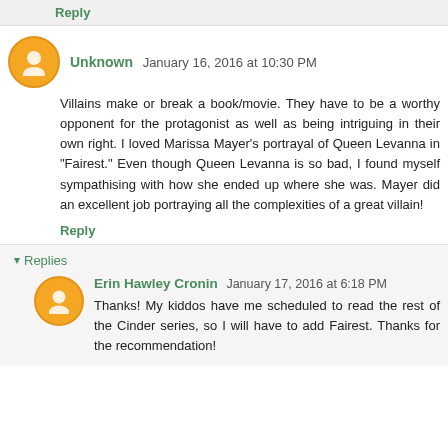Reply
Unknown January 16, 2016 at 10:30 PM
Villains make or break a book/movie. They have to be a worthy opponent for the protagonist as well as being intriguing in their own right. I loved Marissa Mayer's portrayal of Queen Levanna in "Fairest." Even though Queen Levanna is so bad, I found myself sympathising with how she ended up where she was. Mayer did an excellent job portraying all the complexities of a great villain!
Reply
Replies
Erin Hawley Cronin January 17, 2016 at 6:18 PM
Thanks! My kiddos have me scheduled to read the rest of the Cinder series, so I will have to add Fairest. Thanks for the recommendation!